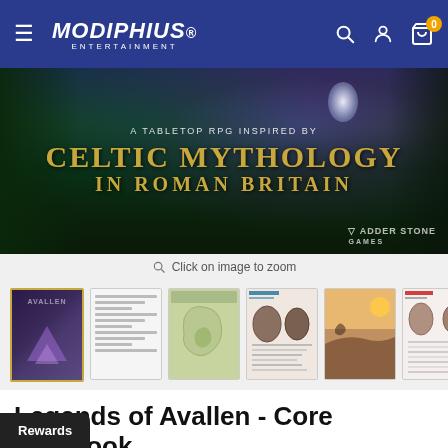Modiphius Entertainment — navigation header with hamburger menu, search, account, and cart icons
[Figure (illustration): Fantasy banner image for 'Legends of Avallen' tabletop RPG. Dark forest scene with glowing deer, ethereal lighting, purple/blue/green mystical atmosphere. Text overlay reads: 'A TABLETOP RPG INSPIRED BY / CELTIC MYTHOLOGY / IN ROMAN BRITAIN'. Adder Stone Games logo in bottom right.]
Click on image to zoom
[Figure (photo): Thumbnail strip showing 6+ product images: book cover (Avallen with triangle motif), interior pages spread, map of game world, item illustrations, landscape art, character/item pages, and more.]
Legends of Avallen - Core Rulebook